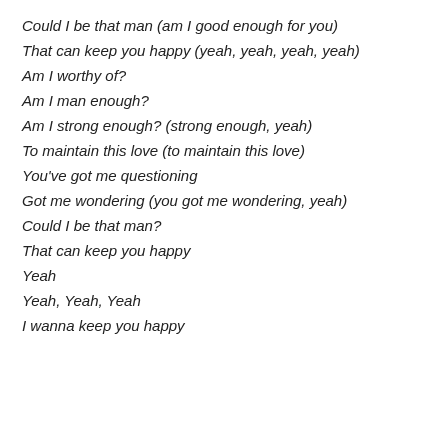Could I be that man (am I good enough for you)
That can keep you happy (yeah, yeah, yeah, yeah)
Am I worthy of?
Am I man enough?
Am I strong enough? (strong enough, yeah)
To maintain this love (to maintain this love)
You've got me questioning
Got me wondering (you got me wondering, yeah)
Could I be that man?
That can keep you happy
Yeah
Yeah, Yeah, Yeah
I wanna keep you happy